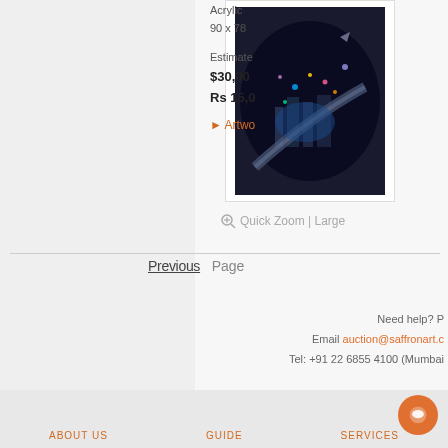[Figure (photo): Painting showing an aerial/cityscape scene with colorful lights, blue tones, and abstract surreal elements against a dark background]
Acrylic
90 x 78
Estimated
$30,00
Rs 15,0
► Artwo
⊕ Quick Zoom | Large
Previous    Page
Need help? P
Email auction@saffronart.c
Tel: +91 22 6855 4100 (Mumbai
ABOUT US    GUIDE    SERVICES